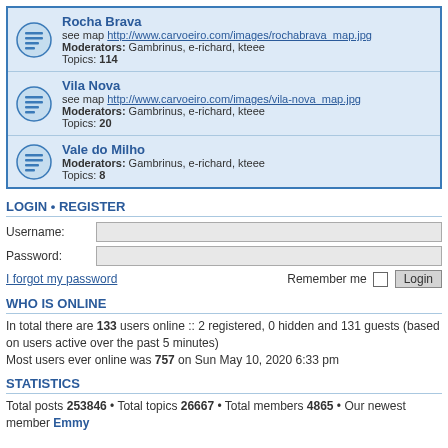Rocha Brava
see map http://www.carvoeiro.com/images/rochabrava_map.jpg
Moderators: Gambrinus, e-richard, kteee
Topics: 114
Vila Nova
see map http://www.carvoeiro.com/images/vila-nova_map.jpg
Moderators: Gambrinus, e-richard, kteee
Topics: 20
Vale do Milho
Moderators: Gambrinus, e-richard, kteee
Topics: 8
LOGIN • REGISTER
Username:
Password:
I forgot my password
Remember me  Login
WHO IS ONLINE
In total there are 133 users online :: 2 registered, 0 hidden and 131 guests (based on users active over the past 5 minutes)
Most users ever online was 757 on Sun May 10, 2020 6:33 pm
STATISTICS
Total posts 253846 • Total topics 26667 • Total members 4865 • Our newest member Emmy